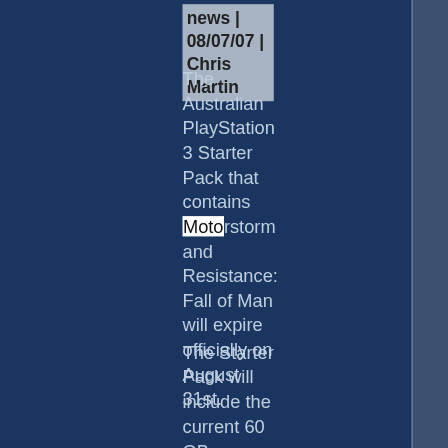news | 08/07/07 | Chris Martin
The Australian PlayStation 3 Starter Pack that contains Motorstorm and Resistance: Fall of Man will expire officially on August 31st.
The Starter Pack will include the current 60 GB PLAYSTATION? 3 console